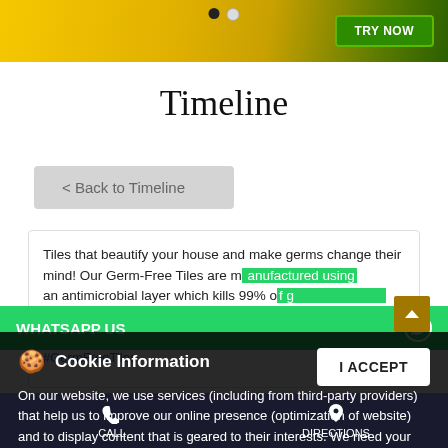[Figure (screenshot): Yellow-green promotional banner with 'TRY NOW' button and navigation dots]
Timeline
< Back to Timeline
Tiles that beautify your house and make germs change their mind! Our Germ-Free Tiles are manufactured using an antimicrobial layer which kills 99% o... free with our Germ-Free Tiles range.MRP : INR 66/sq.ft or INR 708/sq. metre (incl. of all ...
WHATSAPP US
Cookie Information
On our website, we use services (including from third-party providers) that help us to improve our online presence (optimization of website) and to display content that is geared to their interests. We need your consent before being able to use these services.
#GermFreeTiles
I ACCEPT
CALL
DIRECTIONS